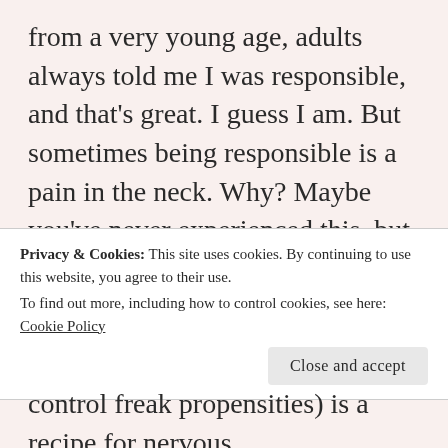from a very young age, adults always told me I was responsible, and that's great. I guess I am. But sometimes being responsible is a pain in the neck. Why? Maybe you've never experienced this, but being responsible means you get things done. Being responsible means you perform above and beyond expectations. Being responsible means you never let people down. Being responsible means you run yourself into the ground trying to do too many things at once, and before you know it, you've said yes to so many people that you've become irresponsible on account of having too
Privacy & Cookies: This site uses cookies. By continuing to use this website, you agree to their use.
To find out more, including how to control cookies, see here: Cookie Policy
Close and accept
control freak propensities) is a recipe for nervous